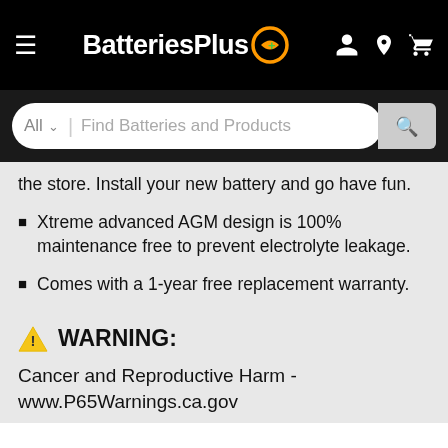BatteriesPlus
the store. Install your new battery and go have fun.
Xtreme advanced AGM design is 100% maintenance free to prevent electrolyte leakage.
Comes with a 1-year free replacement warranty.
WARNING:
Cancer and Reproductive Harm - www.P65Warnings.ca.gov